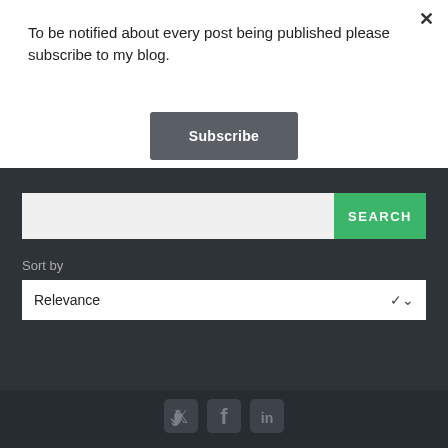To be notified about every post being published please subscribe to my blog.
Subscribe
SEARCH
Sort by
Relevance
[Figure (screenshot): Social media icons: Twitter, Facebook, LinkedIn]